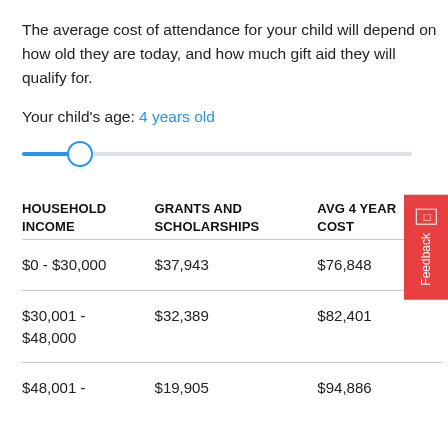The average cost of attendance for your child will depend on how old they are today, and how much gift aid they will qualify for.
Your child's age: 4 years old
[Figure (other): A horizontal slider control showing a child's age set to 4 years old. The slider track is partially filled in blue on the left side, with a circular thumb positioned near the left portion of the track.]
| HOUSEHOLD INCOME | GRANTS AND SCHOLARSHIPS | AVG 4 YEAR COST |
| --- | --- | --- |
| $0 - $30,000 | $37,943 | $76,848 |
| $30,001 - $48,000 | $32,389 | $82,401 |
| $48,001 - | $19,905 | $94,886 |